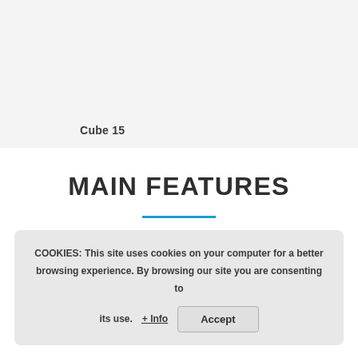Cube 15
MAIN FEATURES
COOKIES: This site uses cookies on your computer for a better browsing experience. By browsing our site you are consenting to its use. + Info  Accept